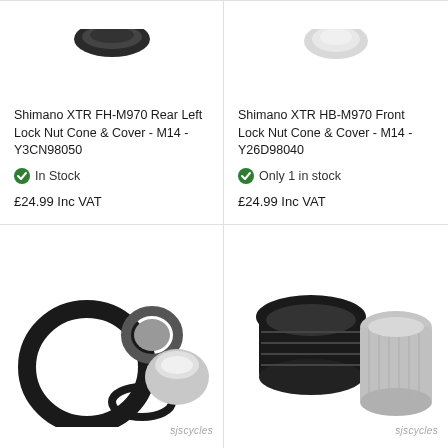[Figure (photo): Shimano XTR FH-M970 Rear Left Lock Nut Cone & Cover parts, black component partially visible at top of cell]
Shimano XTR FH-M970 Rear Left Lock Nut Cone & Cover - M14 - Y3CN98050
In Stock
£24.99 Inc VAT
[Figure (photo): Shimano XTR HB-M970 Front Lock Nut Cone & Cover parts, white/grey component partially visible at top of cell]
Shimano XTR HB-M970 Front Lock Nut Cone & Cover - M14 - Y26D98040
Only 1 in stock
£24.99 Inc VAT
[Figure (photo): Shimano bicycle hub lock nut cone and cover set including black rubber seals and silver cone, product photo with sjscycles watermark]
[Figure (photo): Shimano bicycle hub lock nut cone black threaded part and silver/grey cylindrical cover, product photo with sjscycles watermark]